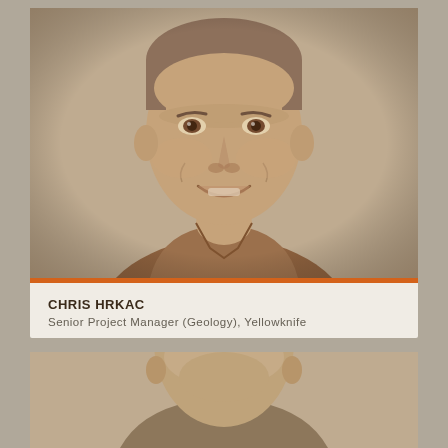[Figure (photo): Sepia-toned portrait photo of Chris Hrkac, a middle-aged man smiling, wearing a brown collared shirt]
CHRIS HRKAC
Senior Project Manager (Geology), Yellowknife
[Figure (photo): Sepia-toned portrait photo of a second person, partially visible, showing head and upper shoulders]